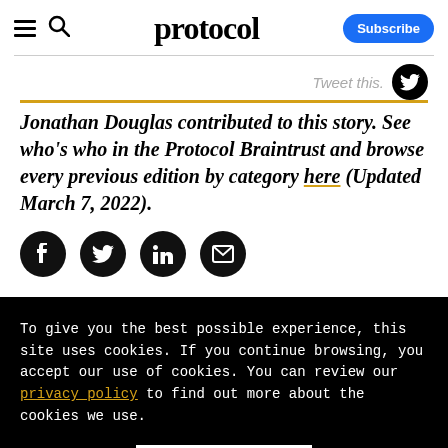protocol — Subscribe
Jonathan Douglas contributed to this story. See who's who in the Protocol Braintrust and browse every previous edition by category here (Updated March 7, 2022).
[Figure (infographic): Social sharing icons: Facebook, Twitter, LinkedIn, Email]
To give you the best possible experience, this site uses cookies. If you continue browsing, you accept our use of cookies. You can review our privacy policy to find out more about the cookies we use.
Accept